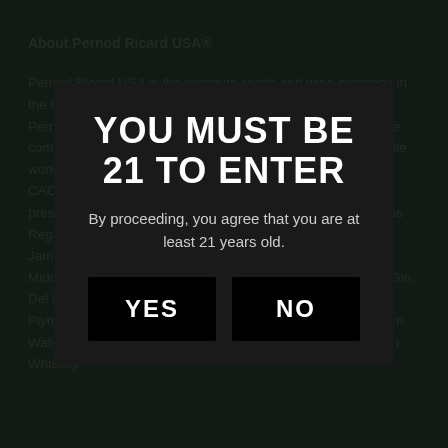About Pernod Ricard USA®
Pernod Ricard USA is the premium spirits and wine company in the U.S., and the largest subsidiary of Paris, France-based Pernod Ricard SA., the world's second-largest spirits and wine company. Pernod Ricard employs approximately 19,000 people worldwide, is listed on Euronext (Ticker: RI) and is part of the CAC 40 index. The company's leading spirits include such prestigious brands as Absolut® vodka , Avión® Tequila, Chivas Regal®, Glenlivet®, Glenfiddich® Single Malt Scotch Whisky, Jameson® Irish Whiskey, Kahlúa® Liqueur, Malibu® [rum], Midori® Melon Liqueur, Olmeca Altos® Tequila , Beefeater® Gin, Del Maguey® Single Village Mezcal, Monkey 47® Gin, Plymouth® Gin, Seagram's® Extra Dry Gin, Malfy® Gin, Hiram Walker® Liqueurs, Mullane's® Irish Whiskey, Brennan's® Irish Whiskey.
YOU MUST BE 21 TO ENTER
By proceeding, you agree that you are at least 21 years old.